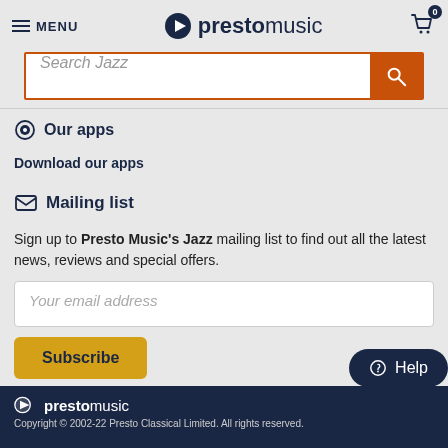MENU | prestomusic | Cart (0)
[Figure (screenshot): Search bar with placeholder 'Search Jazz' and orange search button]
Our apps
Download our apps
Mailing list
Sign up to Presto Music's Jazz mailing list to find out all the latest news, reviews and special offers.
[Figure (screenshot): Email input field with placeholder 'Your email address']
Subscribe
Help
prestomusic — Copyright © 2002-22 Presto Classical Limited. All rights reserved.